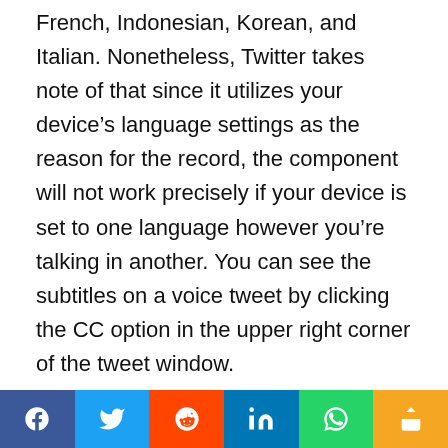French, Indonesian, Korean, and Italian. Nonetheless, Twitter takes note of that since it utilizes your device's language settings as the reason for the record, the component will not work precisely if your device is set to one language however you're talking in another. You can see the subtitles on a voice tweet by clicking the CC option in the upper right corner of the tweet window.
“Though it’s still early and we
[Figure (other): Social share bar with icons for Facebook, Twitter, Reddit, LinkedIn, WhatsApp, and a generic share button]